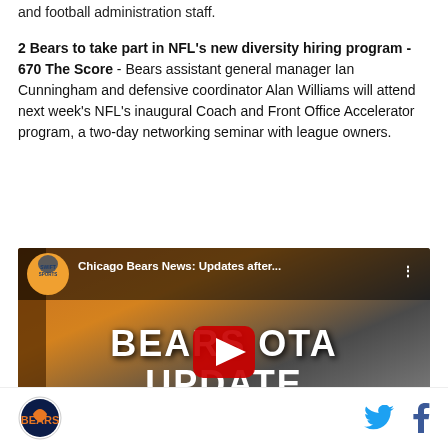and football administration staff.
2 Bears to take part in NFL's new diversity hiring program - 670 The Score - Bears assistant general manager Ian Cunningham and defensive coordinator Alan Williams will attend next week's NFL's inaugural Coach and Front Office Accelerator program, a two-day networking seminar with league owners.
[Figure (screenshot): YouTube video thumbnail showing 'Chicago Bears News: Updates after...' with Bears OTA Update text overlay, Swift Sports channel logo, and red play button]
Chicago Bears logo and social media icons (Twitter, Facebook)